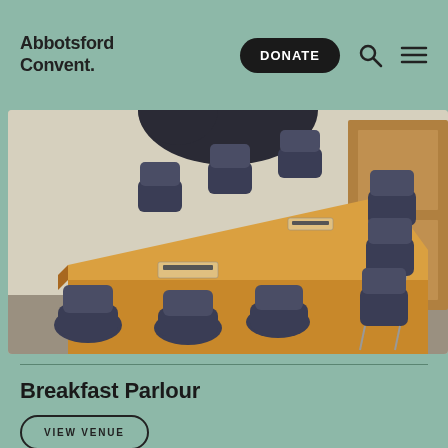Abbotsford Convent.
[Figure (photo): Conference room with a long wooden table and blue chairs, with a wooden door visible in the background.]
Breakfast Parlour
VIEW VENUE